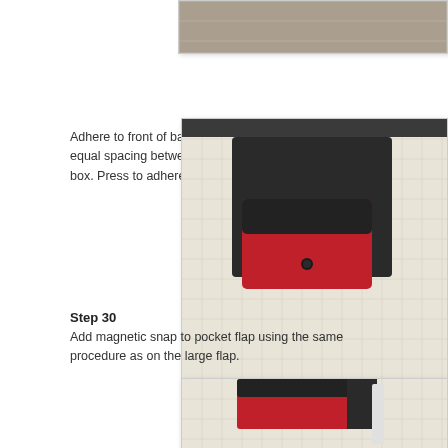[Figure (photo): Partial photo at top right, showing a crafting surface, partially cropped]
Adhere to front of backpack, positioning pocket for equal spacing between it and the sides and bottom of box. Press to adhere.
[Figure (photo): Photo showing a red and black backpack/box on a grid cutting mat, viewed from the front]
Step 30
Add magnetic snap to pocket flap using the same procedure as on the large flap.
[Figure (photo): Photo showing a red and black backpack on a grid cutting mat, partially cropped at bottom]